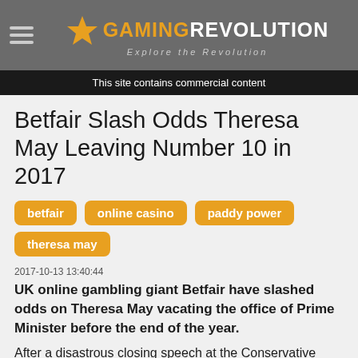Gaming Revolution - Explore the Revolution
This site contains commercial content
Betfair Slash Odds Theresa May Leaving Number 10 in 2017
betfair
online casino
paddy power
theresa may
2017-10-13 13:40:44
UK online gambling giant Betfair have slashed odds on Theresa May vacating the office of Prime Minister before the end of the year.
After a disastrous closing speech at the Conservative Party Conference in Manchester on October 4th Betfair have slashed odds on British Prime Minister Theresa May